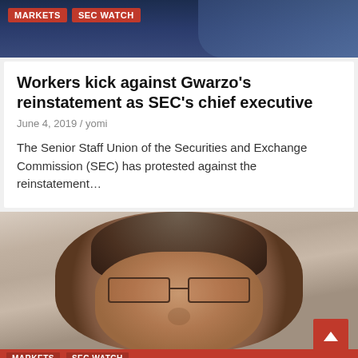[Figure (photo): Top banner showing a man in a suit with tag badges for MARKETS and SEC WATCH]
Workers kick against Gwarzo’s reinstatement as SEC’s chief executive
June 4, 2019 / yomi
The Senior Staff Union of the Securities and Exchange Commission (SEC) has protested against the reinstatement…
[Figure (photo): Close-up portrait photo of a middle-aged Black man wearing rectangular-framed glasses, in dark clothing, set against a light grey background]